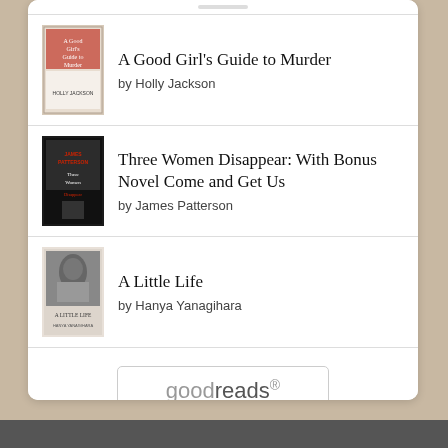[Figure (illustration): Book listing item: 'A Good Girl's Guide to Murder' by Holly Jackson with book cover thumbnail]
A Good Girl's Guide to Murder by Holly Jackson
[Figure (illustration): Book listing item: 'Three Women Disappear: With Bonus Novel Come and Get Us' by James Patterson with book cover thumbnail]
Three Women Disappear: With Bonus Novel Come and Get Us by James Patterson
[Figure (illustration): Book listing item: 'A Little Life' by Hanya Yanagihara with book cover thumbnail]
A Little Life by Hanya Yanagihara
[Figure (logo): goodreads button/logo]